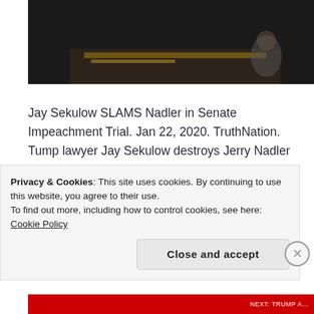[Figure (photo): Dark background image with large white bold text reading 'NONSENSE!' and a partial view of what appears to be a courtroom or hearing room with a desk visible]
Jay Sekulow SLAMS Nadler in Senate Impeachment Trial. Jan 22, 2020. TruthNation. Tump lawyer Jay Sekulow destroys Jerry Nadler for saying “executive privilege and other nonsense”. Sekulow is arguing that not giving documents and violating executive privilege in order to offer up witnesses is not nonsense, it’s Constitutional.
Privacy & Cookies: This site uses cookies. By continuing to use this website, you agree to their use.
To find out more, including how to control cookies, see here: Cookie Policy
Close and accept